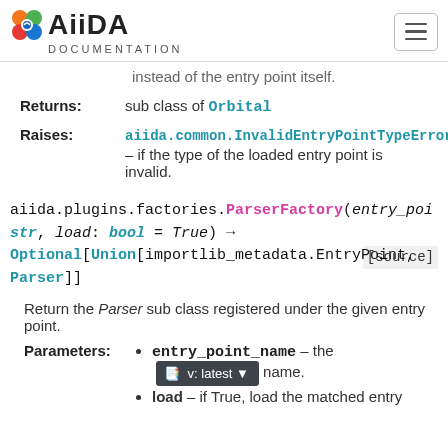AiiDA DOCUMENTATION
instead of the entry point itself.
Returns: sub class of Orbital
Raises: aiida.common.InvalidEntryPointTypeError – if the type of the loaded entry point is invalid.
aiida.plugins.factories.ParserFactory(entry_poi str, load: bool = True) → Optional[Union[importlib_metadata.EntryPoint, Parser]] [source]
Return the Parser sub class registered under the given entry point.
Parameters: entry_point_name – the name.
load – if True, load the matched entry